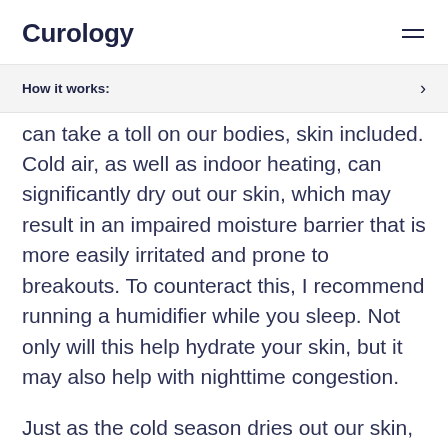Curology
How it works:
can take a toll on our bodies, skin included. Cold air, as well as indoor heating, can significantly dry out our skin, which may result in an impaired moisture barrier that is more easily irritated and prone to breakouts. To counteract this, I recommend running a humidifier while you sleep. Not only will this help hydrate your skin, but it may also help with nighttime congestion.
Just as the cold season dries out our skin, it's easy to become dehydrated when we're sick